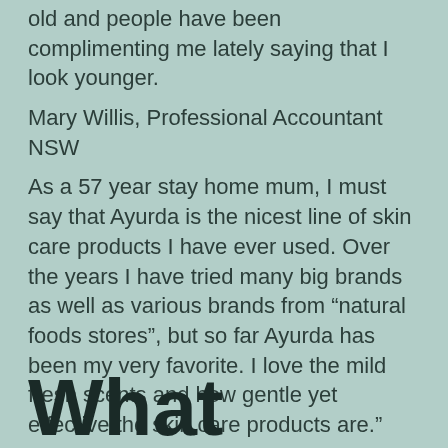old and people have been complimenting me lately saying that I look younger.
Mary Willis, Professional Accountant NSW
As a 57 year stay home mum, I must say that Ayurda is the nicest line of skin care products I have ever used. Over the years I have tried many big brands as well as various brands from “natural foods stores”, but so far Ayurda has been my very favorite. I love the mild fresh scents and how gentle yet effective the skin care products are.”
Dianne Todd, Auckland
What